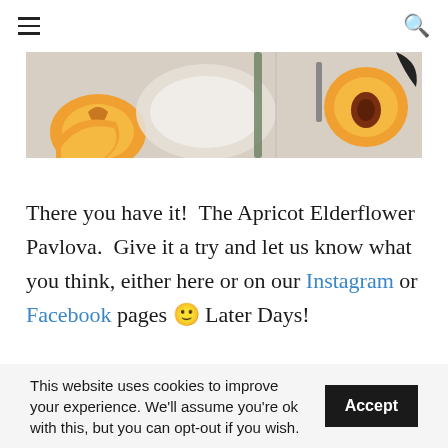☰ [menu] [search]
[Figure (photo): Close-up food photograph showing apricots (halved and whole) alongside a white plate and utensils on a light surface.]
There you have it!  The Apricot Elderflower Pavlova.  Give it a try and let us know what you think, either here or on our Instagram or Facebook pages 🙂 Later Days!
This website uses cookies to improve your experience. We'll assume you're ok with this, but you can opt-out if you wish.  Accept